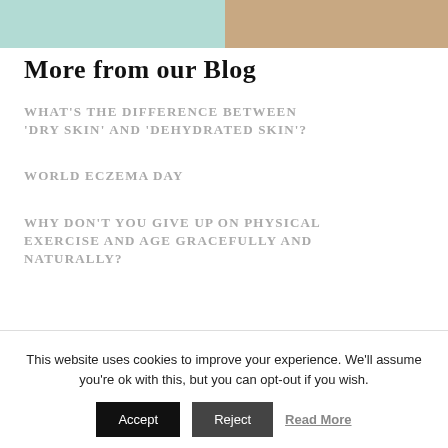[Figure (photo): Partial image at top: left half teal/mint background, right half shows partial photo of a person with brown hair]
More from our Blog
What's the difference between 'dry skin' and 'dehydrated skin'?
World Eczema Day
Why don't you give up on physical exercise and age gracefully and naturally?
This website uses cookies to improve your experience. We'll assume you're ok with this, but you can opt-out if you wish.
Accept | Reject | Read More